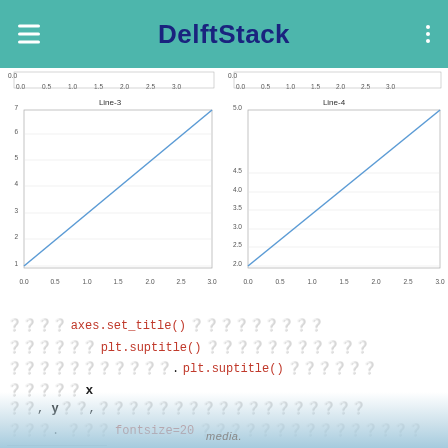DelftStack
[Figure (line-chart): Line-3]
[Figure (line-chart): Line-4]
使用 axes.set_title() 函数为每个图表设置标题，使用 plt.suptitle() 函数为所有子图设置一个主标题。plt.suptitle() 的参数包括 x轴, y轴,以及用于调整标题位置的其他参数。使用 fontsize=20 参数可以设置标题的字体大小。